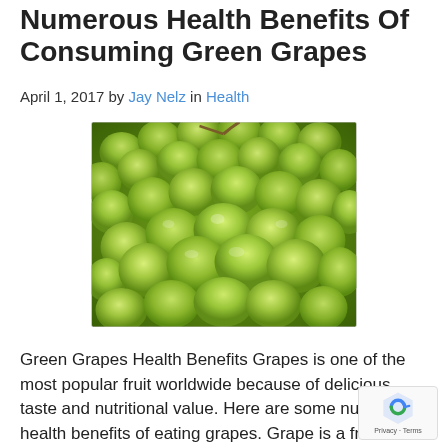Numerous Health Benefits Of Consuming Green Grapes
April 1, 2017 by Jay Nelz in Health
[Figure (photo): Close-up photograph of a bunch of green grapes with stems, showing glossy round green grape fruits in a bunch.]
Green Grapes Health Benefits Grapes is one of the most popular fruit worldwide because of delicious taste and nutritional value. Here are some numerous health benefits of eating grapes. Grape is a fruit of woody vines called